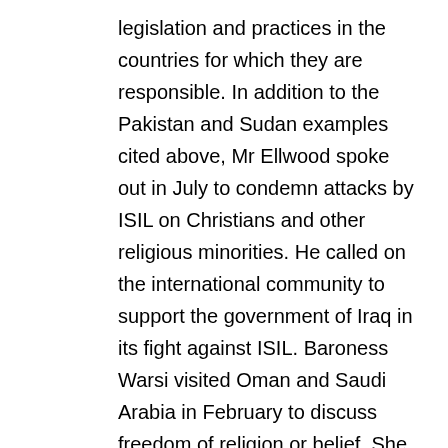legislation and practices in the countries for which they are responsible. In addition to the Pakistan and Sudan examples cited above, Mr Ellwood spoke out in July to condemn attacks by ISIL on Christians and other religious minorities. He called on the international community to support the government of Iraq in its fight against ISIL. Baroness Warsi visited Oman and Saudi Arabia in February to discuss freedom of religion or belief. She gave a speech at the Grand Mosque in Muscat which commended Oman for pursuing mutual respect and understanding between religious groups. She raised the importance of this in Saudi Arabia with the Governor and Mayor of Makkah, the Presidency of the Two Holy Mosques, and the head of the OIC. In April she